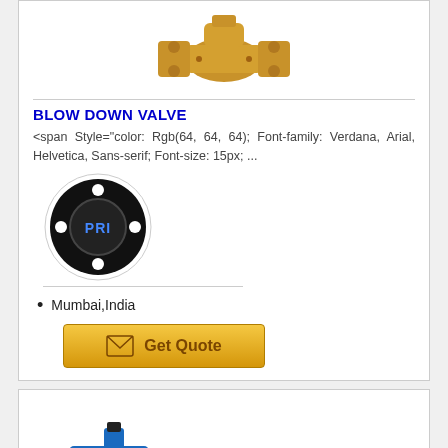[Figure (photo): Gold/bronze blow down valve product photo, top portion visible]
BLOW DOWN VALVE
<span Style="color: Rgb(64, 64, 64); Font-family: Verdana, Arial, Helvetica, Sans-serif; Font-size: 15px; ...
[Figure (logo): Round black logo with 'PRI' text in blue, circular bolted flange design]
Mumbai,India
[Figure (infographic): Get Quote button with envelope icon, gold/yellow background]
[Figure (photo): Blue valve product photo, bottom portion of second card]